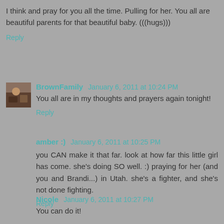I think and pray for you all the time. Pulling for her. You all are beautiful parents for that beautiful baby. (((hugs)))
Reply
BrownFamily January 6, 2011 at 10:24 PM
You all are in my thoughts and prayers again tonight!
Reply
amber :) January 6, 2011 at 10:25 PM
you CAN make it that far. look at how far this little girl has come. she's doing SO well. :) praying for her (and you and Brandi...) in Utah. she's a fighter, and she's not done fighting.
Reply
Nicole January 6, 2011 at 10:27 PM
You can do it!